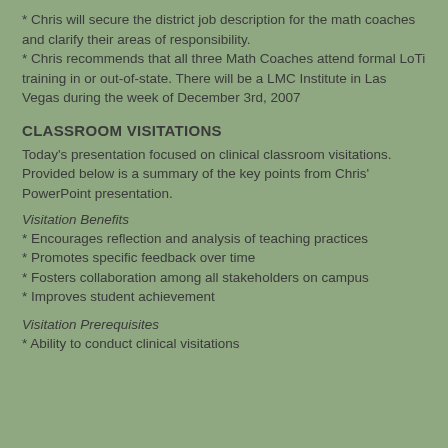* Chris will secure the district job description for the math coaches and clarify their areas of responsibility.
* Chris recommends that all three Math Coaches attend formal LoTi training in or out-of-state. There will be a LMC Institute in Las Vegas during the week of December 3rd, 2007
CLASSROOM VISITATIONS
Today's presentation focused on clinical classroom visitations. Provided below is a summary of the key points from Chris' PowerPoint presentation.
Visitation Benefits
* Encourages reflection and analysis of teaching practices
* Promotes specific feedback over time
* Fosters collaboration among all stakeholders on campus
* Improves student achievement
Visitation Prerequisites
* Ability to conduct clinical visitations